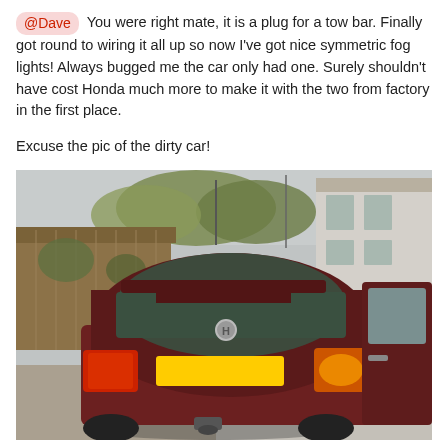@Dave You were right mate, it is a plug for a tow bar. Finally got round to wiring it all up so now I've got nice symmetric fog lights! Always bugged me the car only had one. Surely shouldn't have cost Honda much more to make it with the two from factory in the first place.
Excuse the pic of the dirty car!
[Figure (photo): Rear view of a dirty dark red/maroon Honda Civic saloon with number plate visible, open passenger door on right, parked on gravel beside a wooden fence. Both rear fog lights are on. Residential setting with trees and a stone building in background.]